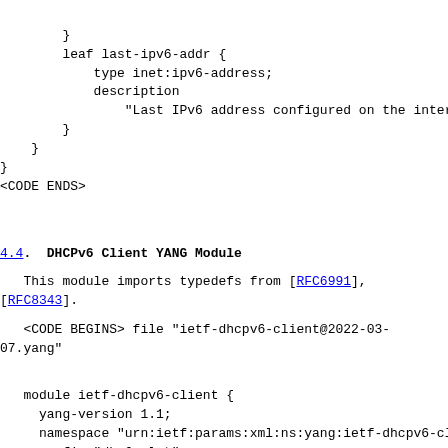}
        leaf last-ipv6-addr {
            type inet:ipv6-address;
            description
                "Last IPv6 address configured on the interfa
        }
    }
}
<CODE ENDS>
4.4. DHCPv6 Client YANG Module
This module imports typedefs from [RFC6991], [RFC8343].
<CODE BEGINS> file "ietf-dhcpv6-client@2022-03-07.yang"
module ietf-dhcpv6-client {
     yang-version 1.1;
     namespace "urn:ietf:params:xml:ns:yang:ietf-dhcpv6-cl
     prefix "dhc6-clnt";

     import ietf-inet-types {
       prefix inet;
       reference
           "RFC 6991: Common YANG Data Types";
     }

     import ietf-yang-types {
       prefix yang;
       reference